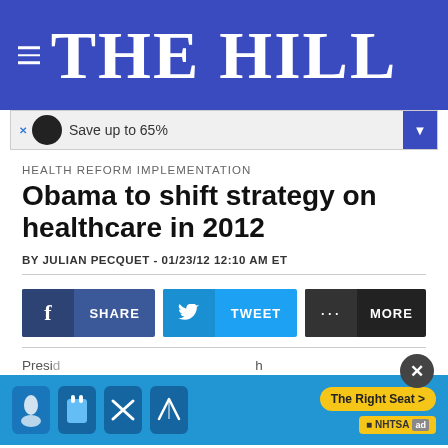THE HILL
[Figure (screenshot): Advertisement banner showing 'Save up to 65%' with a dark circular logo, blue background, and a dropdown arrow on the right.]
HEALTH REFORM IMPLEMENTATION
Obama to shift strategy on healthcare in 2012
BY JULIAN PECQUET - 01/23/12 12:10 AM ET
[Figure (infographic): Social sharing buttons: Facebook SHARE (dark blue), Twitter TWEET (light blue), and MORE (dark/black)]
Presi… h Repu… ncare
[Figure (screenshot): Bottom advertisement overlay for NHTSA 'The Right Seat' featuring car seat safety icons on a blue background with a yellow CTA button and NHTSA badge. Has a dark circular close (X) button.]